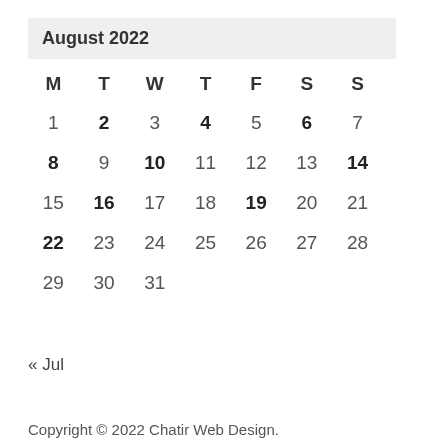August 2022
| M | T | W | T | F | S | S |
| --- | --- | --- | --- | --- | --- | --- |
| 1 | 2 | 3 | 4 | 5 | 6 | 7 |
| 8 | 9 | 10 | 11 | 12 | 13 | 14 |
| 15 | 16 | 17 | 18 | 19 | 20 | 21 |
| 22 | 23 | 24 | 25 | 26 | 27 | 28 |
| 29 | 30 | 31 |  |  |  |  |
« Jul
Copyright © 2022 Chatir Web Design.